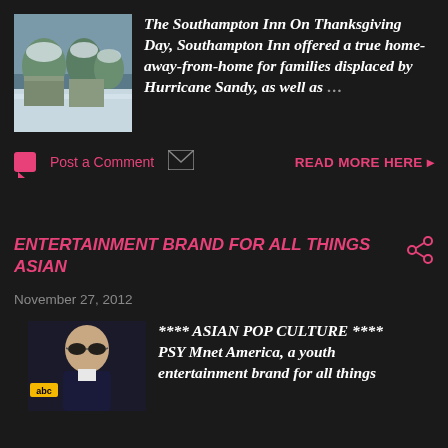[Figure (photo): Thumbnail photo of snowy winter scene with trees and a building]
The Southampton Inn On Thanksgiving Day, Southampton Inn offered a true home-away-from-home for families displaced by Hurricane Sandy, as well as ...
Post a Comment   READ MORE HERE »
ENTERTAINMENT BRAND FOR ALL THINGS ASIAN
November 27, 2012
[Figure (photo): Photo of PSY wearing sunglasses at an ABC event]
**** ASIAN POP CULTURE **** PSY Mnet America, a youth entertainment brand for all things